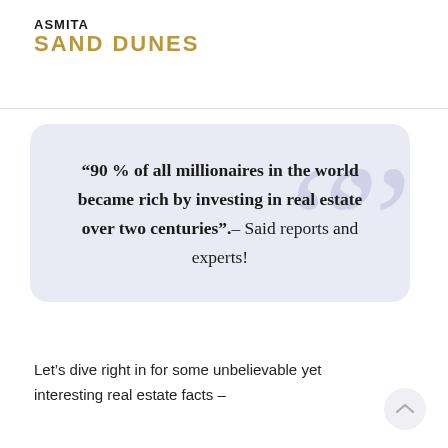ASMITA SAND DUNES
“90 % of all millionaires in the world became rich by investing in real estate over two centuries”.– Said reports and experts!
Let’s dive right in for some unbelievable yet interesting real estate facts –